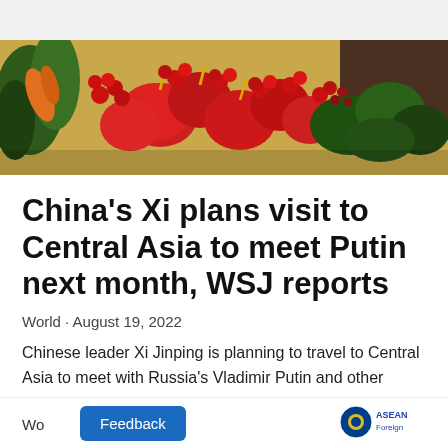[Figure (photo): Close-up photograph of red tropical flowers and berries arrangement, including anthuriums and round red berries, with yellow background]
China's Xi plans visit to Central Asia to meet Putin next month, WSJ reports
World · August 19, 2022
Chinese leader Xi Jinping is planning to travel to Central Asia to meet with Russia's Vladimir Putin and other leaders at a regional summit next month, the Wall Street Journal reported on Friday.